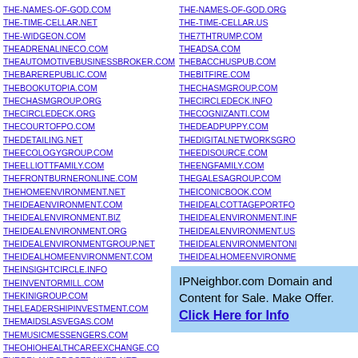THE-NAMES-OF-GOD.COM
THE-TIME-CELLAR.NET
THE-WIDGEON.COM
THEADRENALINECO.COM
THEAUTOMOTIVEBUSINESSBROKER.COM
THEBAREREPUBLIC.COM
THEBOOKUTOPIA.COM
THECHASMGROUP.ORG
THECIRCLEDECK.ORG
THECOURTOFPO.COM
THEDETAILING.NET
THEECOLOGYGROUP.COM
THEELLIOTTFAMILY.COM
THEFRONTBURNERONLINE.COM
THEHOMEENVIRONMENT.NET
THEIDEAENVIRONMENT.COM
THEIDEALENVIRONMENT.BIZ
THEIDEALENVIRONMENT.ORG
THEIDEALENVIRONMENTGROUP.NET
THEIDEALHOMEENVIRONMENT.COM
THEINSIGHTCIRCLE.INFO
THEINVENTORMILL.COM
THEKINIGROUP.COM
THELEADERSHIPINVESTMENT.COM
THEMAIDSLASVEGAS.COM
THEMUSICMESSENGERS.COM
THEOHIOHEALTHCAREEXCHANGE.COM
THEORLANDODOGTRAINER.NET
THE-NAMES-OF-GOD.ORG
THE-TIME-CELLAR.US
THE7THTRUMP.COM
THEADSA.COM
THEBACCHUSPUB.COM
THEBITFIRE.COM
THECHASMGROUP.COM
THECIRCLEDECK.INFO
THECOGNIZANTI.COM
THEDEADPUPPY.COM
THEDIGITALNETWORKSGRO
THEEDISOURCE.COM
THEENGFAMILY.COM
THEGALESAGROUP.COM
THEICONICBOOK.COM
THEIDEALCOTTAGEPORTFO
THEIDEALENVIRONMENT.INF
THEIDEALENVIRONMENT.US
THEIDEALENVIRONMENTONI
THEIDEALHOMEENVIRONME
THEINSIGHTCIRCLE.NET
THEINVENTORSMILL.COM
THEKOPPELS.NET
THELEMONSQUARE.COM
IPNeighbor.com Domain and Content for Sale. Make Offer. Click Here for Info